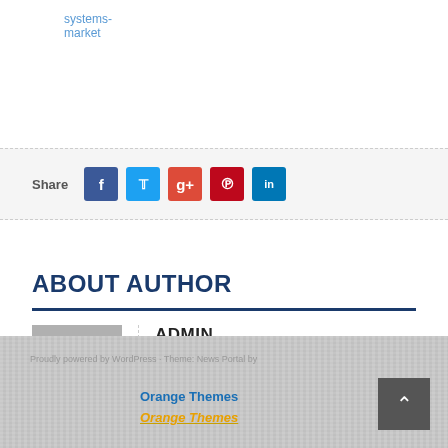systems-market
Share
ABOUT AUTHOR
ADMIN
Orange Themes